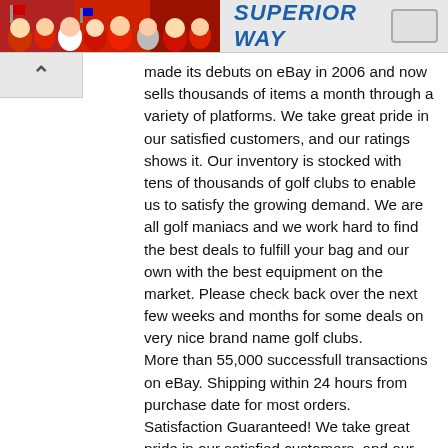[Figure (photo): Banner advertisement showing sports crowd images on the left side and blue bold italic text 'SUPERIOR WAY' on a light grey background on the right, with a button on the far right.]
made its debuts on eBay in 2006 and now sells thousands of items a month through a variety of platforms. We take great pride in our satisfied customers, and our ratings shows it. Our inventory is stocked with tens of thousands of golf clubs to enable us to satisfy the growing demand. We are all golf maniacs and we work hard to find the best deals to fulfill your bag and our own with the best equipment on the market. Please check back over the next few weeks and months for some deals on very nice brand name golf clubs.
More than 55,000 successfull transactions on eBay. Shipping within 24 hours from purchase date for most orders.
Satisfaction Guaranteed! We take great pride in our satisfied customers, and our rating shows it.
100% Authentic. All our clubs are inspected by PGA accredited professionals.